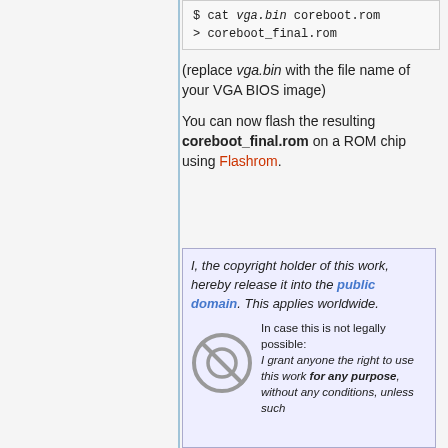$ cat vga.bin coreboot.rom > coreboot_final.rom
(replace vga.bin with the file name of your VGA BIOS image)
You can now flash the resulting coreboot_final.rom on a ROM chip using Flashrom.
I, the copyright holder of this work, hereby release it into the public domain. This applies worldwide.

In case this is not legally possible:
I grant anyone the right to use this work for any purpose, without any conditions, unless such